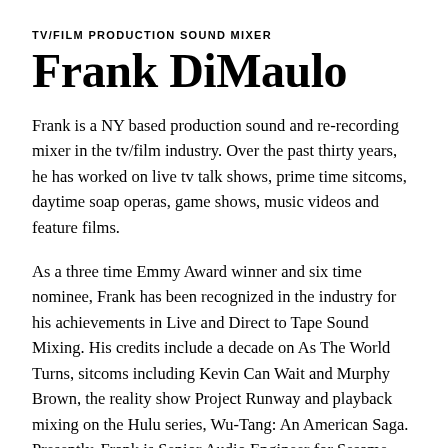TV/FILM PRODUCTION SOUND MIXER
Frank DiMaulo
Frank is a NY based production sound and re-recording mixer in the tv/film industry. Over the past thirty years, he has worked on live tv talk shows, prime time sitcoms, daytime soap operas, game shows, music videos and feature films.
As a three time Emmy Award winner and six time nominee, Frank has been recognized in the industry for his achievements in Live and Direct to Tape Sound Mixing. His credits include a decade on As The World Turns, sitcoms including Kevin Can Wait and Murphy Brown, the reality show Project Runway and playback mixing on the Hulu series, Wu-Tang: An American Saga.  Presently, Frank is Senior Audio Engineer for Sesame Workshop Productions which includes Sesame Street, the Not Too Late Show with El...